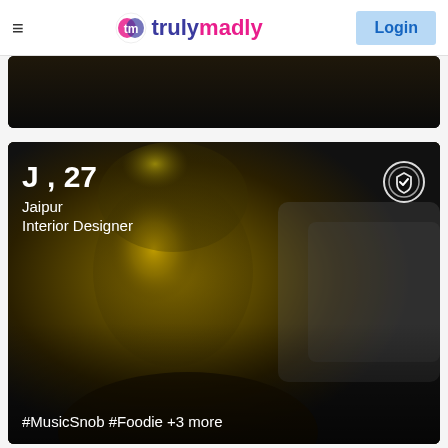trulymadly — Login
[Figure (screenshot): Dark profile card (partially visible) with tags: #Trendy #Artsy +3 more]
#Trendy #Artsy +3 more
[Figure (photo): Profile card for J, 27 from Jaipur, Interior Designer. Blurred photo of a person with warm yellowish lighting. Verified badge in top right corner.]
J , 27
Jaipur
Interior Designer
#MusicSnob #Foodie +3 more